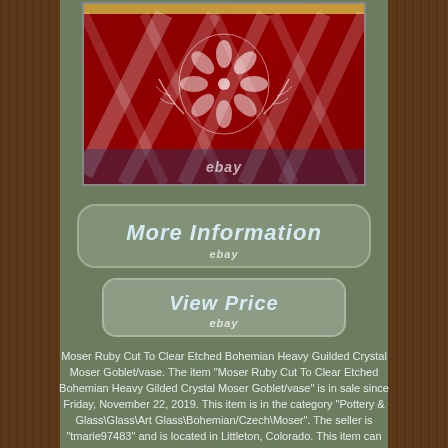[Figure (photo): A Moser Ruby Cut To Clear Etched Bohemian Heavy Gilded Crystal Moser Goblet/vase with ruby red glass and floral etched pattern, with gold rim, photographed against a blue background. Ebay watermark visible.]
[Figure (other): Button reading 'More Information' with ebay logo below, rounded rectangle border on sage green background]
[Figure (other): Button reading 'View Price' with ebay logo below, rounded rectangle border on sage green background]
Moser Ruby Cut To Clear Etched Bohemian Heavy Guilded Crystal Moser Goblet/vase. The item "Moser Ruby Cut To Clear Etched Bohemian Heavy Gilded Crystal Moser Goblet/vase" is in sale since Friday, November 22, 2019. This item is in the category "Pottery & Glass\Glass\Art Glass\Bohemian/Czech\Moser". The seller is "tmarie97483" and is located in Littleton, Colorado. This item can be shipped to United States, Canada, United Kingdom, Denmark,